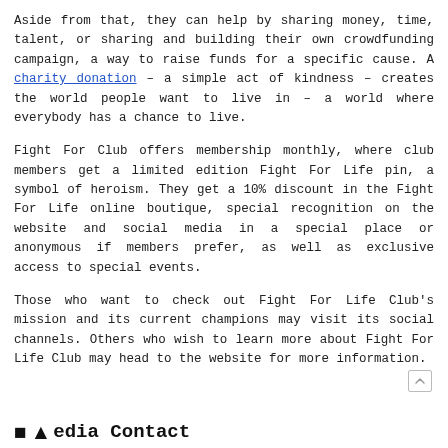Aside from that, they can help by sharing money, time, talent, or sharing and building their own crowdfunding campaign, a way to raise funds for a specific cause. A charity donation – a simple act of kindness – creates the world people want to live in – a world where everybody has a chance to live.
Fight For Club offers membership monthly, where club members get a limited edition Fight For Life pin, a symbol of heroism. They get a 10% discount in the Fight For Life online boutique, special recognition on the website and social media in a special place or anonymous if members prefer, as well as exclusive access to special events.
Those who want to check out Fight For Life Club's mission and its current champions may visit its social channels. Others who wish to learn more about Fight For Life Club may head to the website for more information.
edia Contact